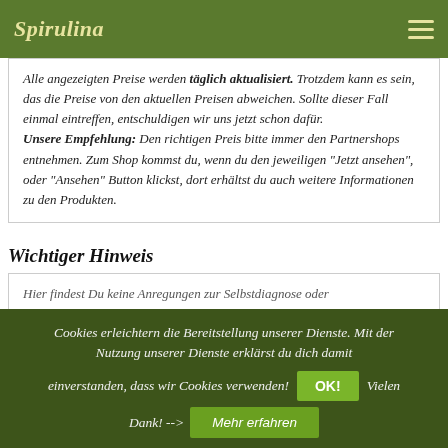Spirulina
Alle angezeigten Preise werden täglich aktualisiert. Trotzdem kann es sein, das die Preise von den aktuellen Preisen abweichen. Sollte dieser Fall einmal eintreffen, entschuldigen wir uns jetzt schon dafür. Unsere Empfehlung: Den richtigen Preis bitte immer den Partnershops entnehmen. Zum Shop kommst du, wenn du den jeweiligen "Jetzt ansehen", oder "Ansehen" Button klickst, dort erhältst du auch weitere Informationen zu den Produkten.
Wichtiger Hinweis
Hier findest Du keine Anregungen zur Selbstdiagnose oder Selbstbehandlung bei Erkrankungen! Solltest Du krank sein, oder...
Cookies erleichtern die Bereitstellung unserer Dienste. Mit der Nutzung unserer Dienste erklärst du dich damit einverstanden, dass wir Cookies verwenden! OK! Vielen Dank! --> Mehr erfahren